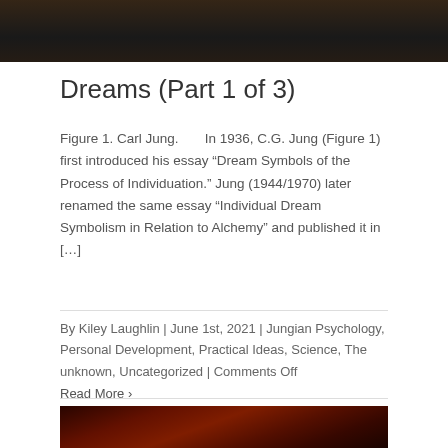[Figure (photo): Dark nature photograph at top of page]
Dreams (Part 1 of 3)
Figure 1. Carl Jung.       In 1936, C.G. Jung (Figure 1) first introduced his essay “Dream Symbols of the Process of Individuation.” Jung (1944/1970) later renamed the same essay "Individual Dream Symbolism in Relation to Alchemy" and published it in […]
By Kiley Laughlin | June 1st, 2021 | Jungian Psychology, Personal Development, Practical Ideas, Science, The unknown, Uncategorized | Comments Off
Read More ›
[Figure (photo): Dark red sunset/sky photograph at bottom of page]